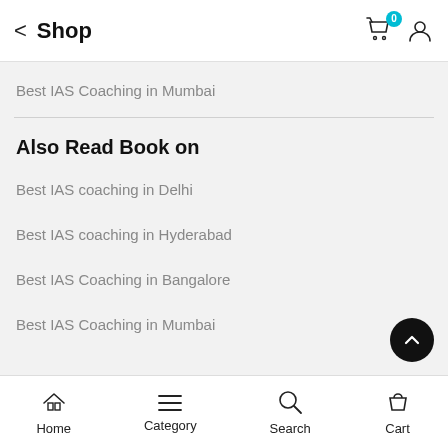Shop
Best IAS Coaching in Mumbai
Also Read Book on
Best IAS coaching in Delhi
Best IAS coaching in Hyderabad
Best IAS Coaching in Bangalore
Best IAS Coaching in Mumbai
Home  Category  Search  Cart